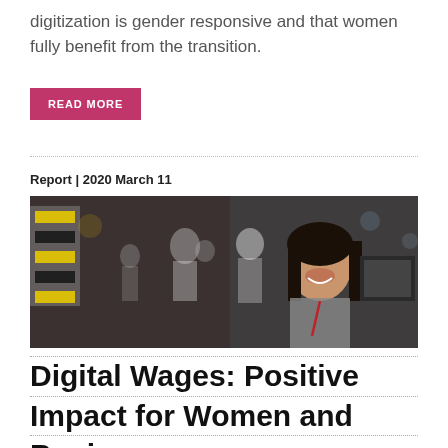digitization is gender responsive and that women fully benefit from the transition.
READ MORE
Report | 2020 March 11
[Figure (photo): A smiling young woman in a factory or office setting with workers and equipment in the background]
Digital Wages: Positive Impact for Women and Business